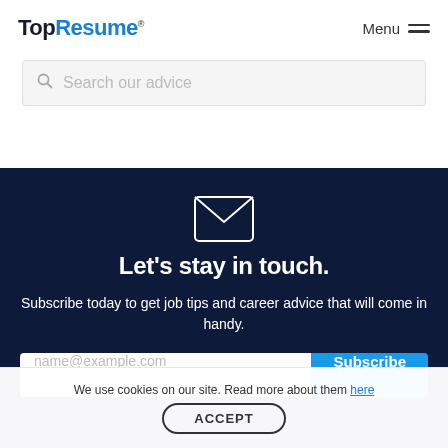TopResume® Menu
Search our advice
[Figure (illustration): Envelope icon on dark navy background]
Let's stay in touch.
Subscribe today to get job tips and career advice that will come in handy.
name@example.com  Subscribe
We use cookies on our site. Read more about them here
ACCEPT